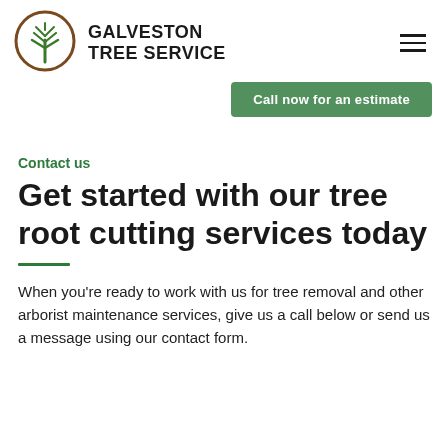GALVESTON TREE SERVICE
[Figure (logo): Galveston Tree Service logo: brown circle with green stylized tree/leaf icon inside, next to bold text 'GALVESTON TREE SERVICE']
Call now for an estimate
Contact us
Get started with our tree root cutting services today
When you're ready to work with us for tree removal and other arborist maintenance services, give us a call below or send us a message using our contact form.